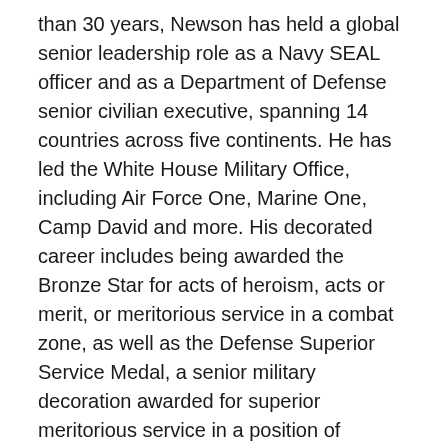than 30 years, Newson has held a global senior leadership role as a Navy SEAL officer and as a Department of Defense senior civilian executive, spanning 14 countries across five continents. He has led the White House Military Office, including Air Force One, Marine One, Camp David and more. His decorated career includes being awarded the Bronze Star for acts of heroism, acts or merit, or meritorious service in a combat zone, as well as the Defense Superior Service Medal, a senior military decoration awarded for superior meritorious service in a position of significant responsibility.
He has served during multiple Presidential Administrations, most recently serving as Deputy Director of the Whitehouse Military Office from 2018-2019, where some of his responsibilities included